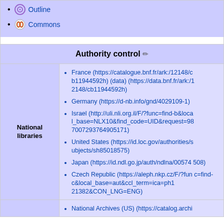Outline
Commons
|  | Authority control |
| --- | --- |
| National libraries | France (https://catalogue.bnf.fr/ark:/12148/cb11944592h) (data) (https://data.bnf.fr/ark:/12148/cb11944592h)
Germany (https://d-nb.info/gnd/4029109-1)
Israel (http://uli.nli.org.il/F/?func=find-b&local_base=NLX10&find_code=UID&request=987007293764905171)
United States (https://id.loc.gov/authorities/subjects/sh85018575)
Japan (https://id.ndl.go.jp/auth/ndlna/00574508)
Czech Republic (https://aleph.nkp.cz/F/?func=find-c&local_base=aut&ccl_term=ica=ph121382&CON_LNG=ENG) |
|  | National Archives (US) (https://catalog.archi |